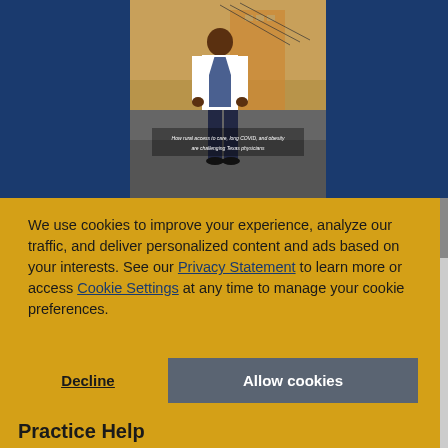[Figure (photo): A physician in a white lab coat standing outdoors in an urban setting with buildings visible in the background. Overlay text reads: 'How rural access to care, long COVID, and obesity are challenging Texas physicians']
We use cookies to improve your experience, analyze our traffic, and deliver personalized content and ads based on your interests. See our Privacy Statement to learn more or access Cookie Settings at any time to manage your cookie preferences.
Decline
Allow cookies
Practice Help